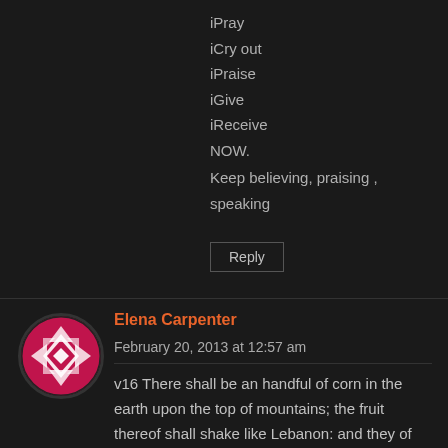iPray
iCry out
iPraise
iGive
iReceive
NOW.
Keep believing, praising , speaking
Reply
Elena Carpenter   February 20, 2013 at 12:57 am
v16 There shall be an handful of corn in the earth upon the top of mountains; the fruit thereof shall shake like Lebanon: and they of the city shall flourish like grass of the earth.
I'm so thankful for the many times GOD has confirmed HIS WORD concerning the harvest. GOD